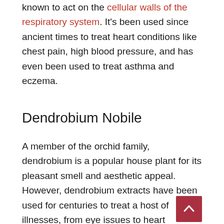known to act on the cellular walls of the respiratory system. It's been used since ancient times to treat heart conditions like chest pain, high blood pressure, and has even been used to treat asthma and eczema.
Dendrobium Nobile
A member of the orchid family, dendrobium is a popular house plant for its pleasant smell and aesthetic appeal. However, dendrobium extracts have been used for centuries to treat a host of illnesses, from eye issues to heart conditions. Nowadays, dendrobium nobile is being used in many supplements for its purported health benefits;